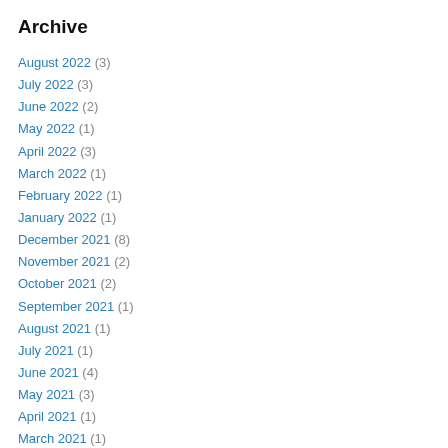Archive
August 2022 (3)
July 2022 (3)
June 2022 (2)
May 2022 (1)
April 2022 (3)
March 2022 (1)
February 2022 (1)
January 2022 (1)
December 2021 (8)
November 2021 (2)
October 2021 (2)
September 2021 (1)
August 2021 (1)
July 2021 (1)
June 2021 (4)
May 2021 (3)
April 2021 (1)
March 2021 (1)